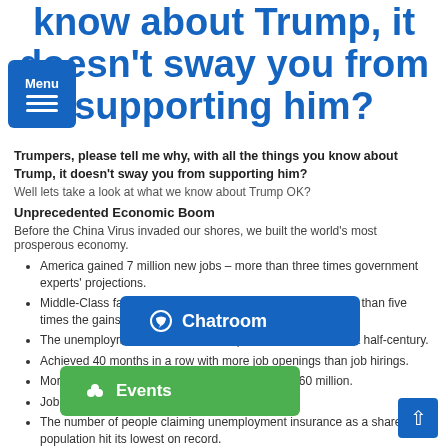know about Trump, it doesn't sway you from supporting him?
Trumpers, please tell me why, with all the things you know about Trump, it doesn't sway you from supporting him?
Well lets take a look at what we know about Trump OK?
Unprecedented Economic Boom
Before the China Virus invaded our shores, we built the world's most prosperous economy.
America gained 7 million new jobs – more than three times government experts' projections.
Middle-Class family income increased nearly $6,000 – more than five times the gains during the entire previous administration.
The unemployment rate reached 3.5 percent, the lowest in a half-century.
Achieved 40 months in a row with more job openings than job hirings.
More Americans reported [being employed] – nearly 160 million.
Jobless claims hit a near[ly] [50-year low].
The number of people claiming unemployment insurance as a share of the population hit its lowest on record.
Income [rose] [in every metro] area in the United States for the first time [in] nearly [50 years].